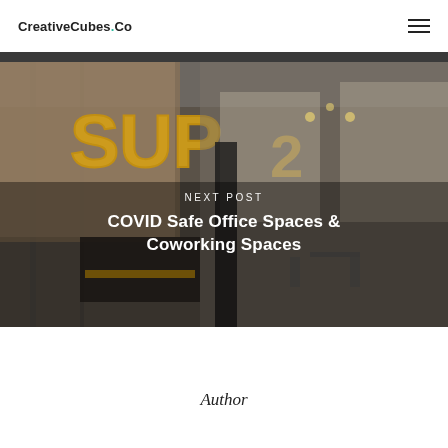CreativeCubes.Co
[Figure (photo): Interior photo of a coworking space showing a large illuminated SUP2 sign on a brick wall, with a reception desk and dining/lounge area visible in the background.]
Next Post
COVID Safe Office Spaces & Coworking Spaces
Author